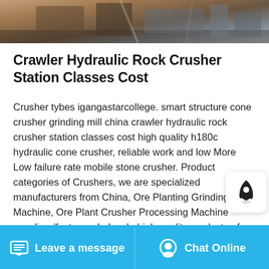[Figure (photo): Top banner photo showing machinery/rock crusher equipment, chains and metal structures visible]
Crawler Hydraulic Rock Crusher Station Classes Cost
Crusher tybes igangastarcollege. smart structure cone crusher grinding mill china crawler hydraulic rock crusher station classes cost high quality h180c hydraulic cone crusher, reliable work and low More Low failure rate mobile stone crusher. Product categories of Crushers, we are specialized manufacturers from China, Ore Planting Grinding Machine, Ore Plant Crusher Processing Machine suppliers/factory, wholesale high-quality products of Rock Crusher Jaw Crusher Cone Crusher R D and manufacturing, we have the perfect after-
Leave a message   Chat Online